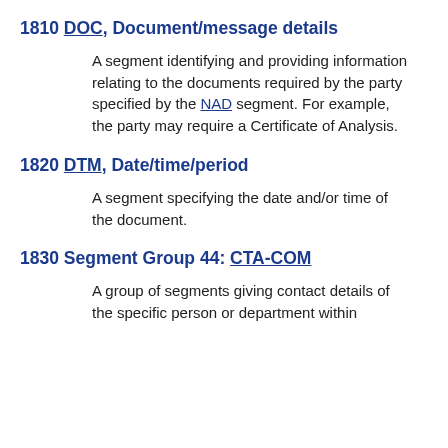1810 DOC, Document/message details
A segment identifying and providing information relating to the documents required by the party specified by the NAD segment. For example, the party may require a Certificate of Analysis.
1820 DTM, Date/time/period
A segment specifying the date and/or time of the document.
1830 Segment Group 44: CTA-COM
A group of segments giving contact details of the specific person or department within